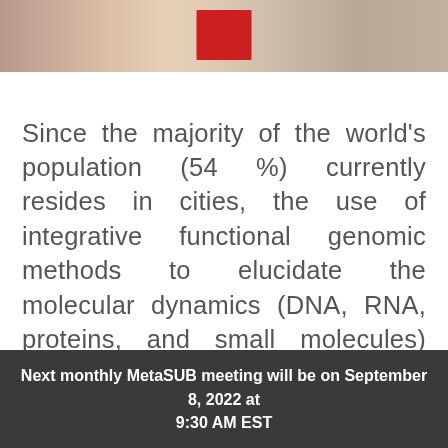[Figure (photo): Photo strip showing people, partially cropped at the top of the page]
Since the majority of the world's population (54 %) currently resides in cities, the use of integrative functional genomic methods to elucidate the molecular dynamics (DNA, RNA, proteins, and small molecules) and ecosystems of cities has potentially large implications for the sustainability, security, safety, and future planning of cities.
Next monthly MetaSUB meeting will be on September 8, 2022 at 9:30 AM EST